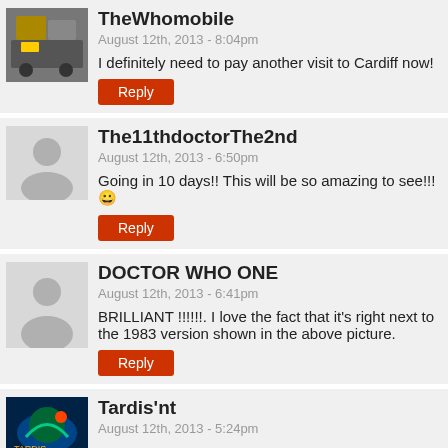TheWhomobile
August 12th, 2013 - 8:04pm
I definitely need to pay another visit to Cardiff now!
Reply
The11thdoctorThe2nd
August 12th, 2013 - 6:50pm
Going in 10 days!! This will be so amazing to see!!! 😀
Reply
DOCTOR WHO ONE
August 12th, 2013 - 6:41pm
BRILLIANT !!!!!!. I love the fact that it's right next to the 1983 version shown in the above picture.
Reply
Tardis'nt
August 12th, 2013 - 5:24pm